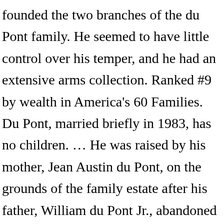founded the two branches of the du Pont family. He seemed to have little control over his temper, and he had an extensive arms collection. Ranked #9 by wealth in America's 60 Families. Du Pont, married briefly in 1983, has no children. … He was raised by his mother, Jean Austin du Pont, on the grounds of the family estate after his father, William du Pont Jr., abandoned the family when John was 2. Du Pont's parents, who raised and trained Thoroughbred racehorses, divorced when he was two years old, and he and his mother remained on the estate. The du Pont clan, with a